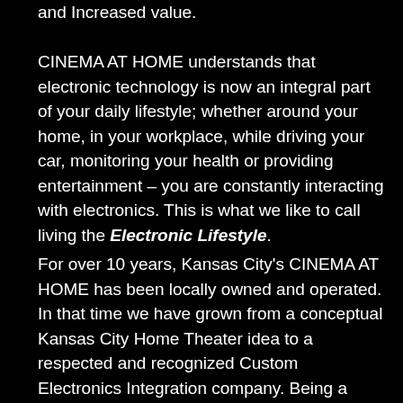and Increased value.
CINEMA AT HOME understands that electronic technology is now an integral part of your daily lifestyle; whether around your home, in your workplace, while driving your car, monitoring your health or providing entertainment – you are constantly interacting with electronics. This is what we like to call living the Electronic Lifestyle.
For over 10 years, Kansas City's CINEMA AT HOME has been locally owned and operated. In that time we have grown from a conceptual Kansas City Home Theater idea to a respected and recognized Custom Electronics Integration company. Being a member of both CEDIA and ESPA assures professional ethics and standards. We provide the latest in Home Entertainment, while promoting Green Home energy conservation attributes and Smart Home Automation systems. We are constantly training to keep up with electronic related